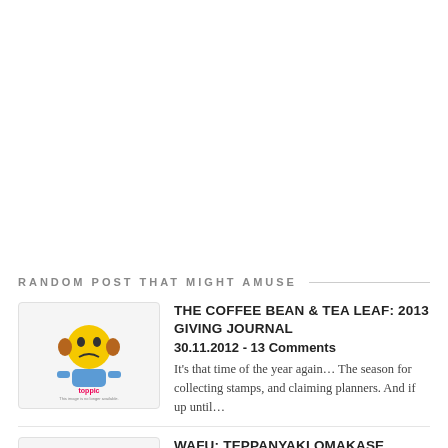RANDOM POST THAT MIGHT AMUSE
[Figure (illustration): Toppic placeholder image - sad yellow robot/character face with brown ears and blue body, with text 'toppic' and small caption below]
THE COFFEE BEAN & TEA LEAF: 2013 GIVING JOURNAL
30.11.2012 - 13 Comments
It's that time of the year again… The season for collecting stamps, and claiming planners. And if up until…
[Figure (illustration): Toppic placeholder image - sad yellow robot/character face with brown ears and blue body]
WAFU: TEPPANYAKI OMAKASE BUFFET IN GREENHILLS
23.09.2013 - 22 Comments